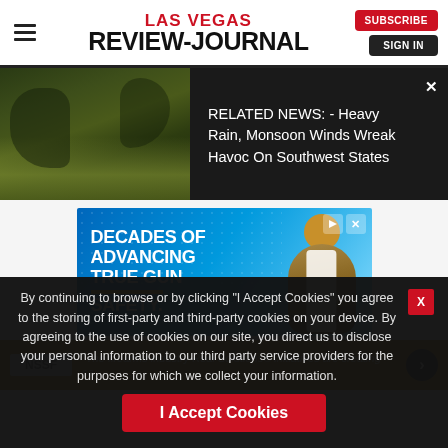Las Vegas Review-Journal
[Figure (screenshot): Related news banner with dark forest/water image on left and white text on dark background: RELATED NEWS: - Heavy Rain, Monsoon Winds Wreak Havoc On Southwest States, with X close button]
[Figure (infographic): Advertisement banner: DECADES OF ADVANCING TRUE GUN SAFETY with yellow underline and man in vest on blue gradient background, NSSF logo area below]
By continuing to browse or by clicking “I Accept Cookies” you agree to the storing of first-party and third-party cookies on your device. By agreeing to the use of cookies on our site, you direct us to disclose your personal information to our third party service providers for the purposes for which we collect your information.
I Accept Cookies